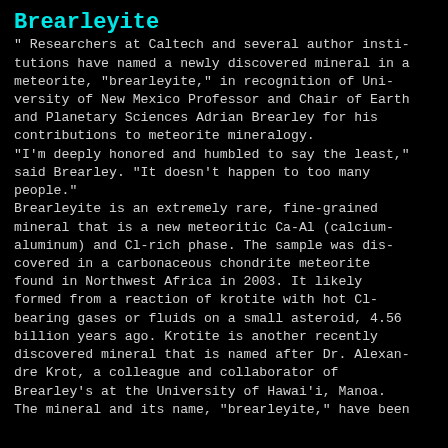Brearleyite
" Researchers at Caltech and several author institutions have named a newly discovered mineral in a meteorite, “brearleyite,” in recognition of University of New Mexico Professor and Chair of Earth and Planetary Sciences Adrian Brearley for his contributions to meteorite mineralogy.
“I’m deeply honored and humbled to say the least,” said Brearley. “It doesn’t happen to too many people.”
Brearleyite is an extremely rare, fine-grained mineral that is a new meteoritic Ca-Al (calcium-aluminum) and Cl-rich phase. The sample was discovered in a carbonaceous chondrite meteorite found in Northwest Africa in 2003. It likely formed from a reaction of krotite with hot Cl-bearing gases or fluids on a small asteroid, 4.56 billion years ago. Krotite is another recently discovered mineral that is named after Dr. Alexandre Krot, a colleague and collaborator of Brearley’s at the University of Hawai’i, Manoa.
The mineral and its name, “brearleyite,” have been